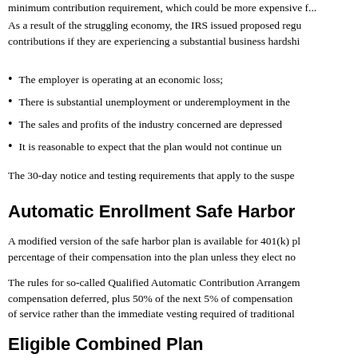minimum contribution requirement, which could be more expensive f...
As a result of the struggling economy, the IRS issued proposed regulations allowing employers to suspend contributions if they are experiencing a substantial business hardship...
The employer is operating at an economic loss;
There is substantial unemployment or underemployment in the...
The sales and profits of the industry concerned are depressed...
It is reasonable to expect that the plan would not continue un...
The 30-day notice and testing requirements that apply to the suspe...
Automatic Enrollment Safe Harbor
A modified version of the safe harbor plan is available for 401(k) plans that automatically enroll employees, deferring a percentage of their compensation into the plan unless they elect no...
The rules for so-called Qualified Automatic Contribution Arrangements (QACAs) require an employer match of 100% of the first 1% of compensation deferred, plus 50% of the next 5% of compensation deferred. QACAs also allow for a 2-year cliff vesting schedule of service rather than the immediate vesting required of traditional...
Eligible Combined Plan